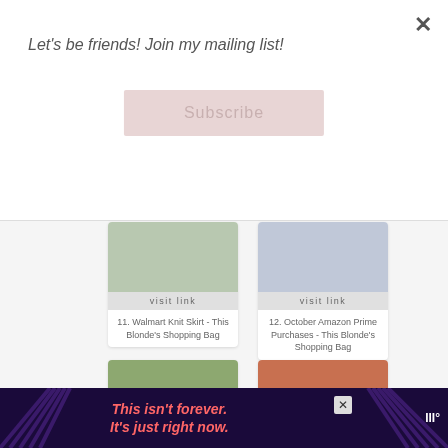Let's be friends! Join my mailing list!
Subscribe
[Figure (screenshot): Card 11: Walmart Knit Skirt product photo with visit link button]
11. Walmart Knit Skirt - This Blonde's Shopping Bag
[Figure (screenshot): Card 12: October Amazon Prime Purchases product photo with visit link button]
12. October Amazon Prime Purchases - This Blonde's Shopping Bag
[Figure (screenshot): Card 13: Woman in white shirt and brown pants outside]
[Figure (screenshot): Card 14: Woman in red cardigan outside]
[Figure (screenshot): Ad banner: This isn't forever. It's just right now.]
This isn't forever. It's just right now.